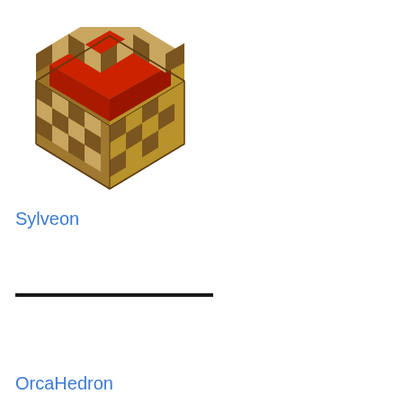[Figure (illustration): Minecraft-style open chest block with red interior lining, shown in isometric view. The chest is made of wooden planks with a checkerboard pattern and has an open lid revealing a red interior.]
Sylveon
OrcaHedron